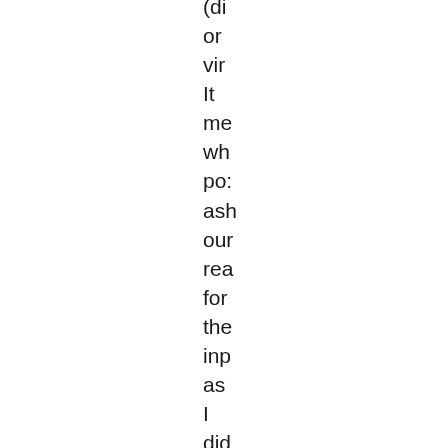(di or vir It me wh po: asl our rea for the inp as I did wh I wr my bo: (ar oth au